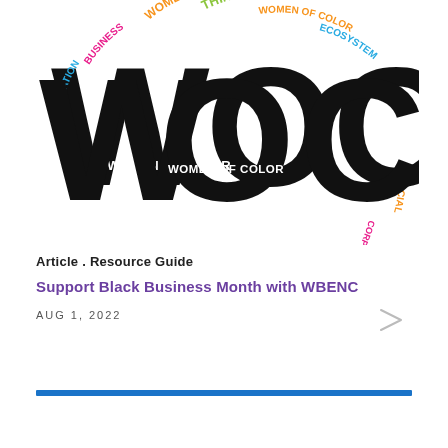[Figure (logo): WOC Women of Color logo with colorful text words arranged in a circle (INNOVATION, BUSINESS, WOMEN OF COLOR, THINK BOLD, ECOSYSTEM, ACCESS TO CAPITAL, WBE CERTIFICATION, CORPORATE, SUPPLY CHAIN, NETWORKS) around large black WOC letters with 'WOMEN OF COLOR' text inside]
Article . Resource Guide
Support Black Business Month with WBENC
AUG 1, 2022